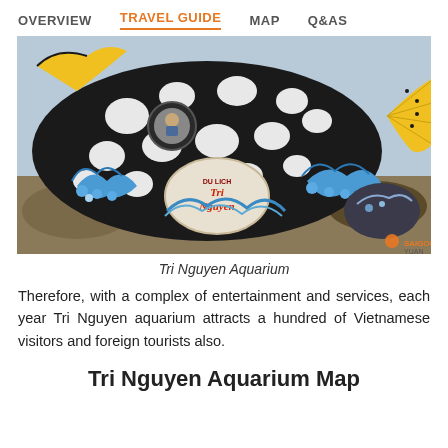OVERVIEW   TRAVEL GUIDE   MAP   Q&AS
[Figure (photo): Large decorative sculpture of a fish (triggerfish/pufferfish) painted black and white with blue wave designs, with a sign reading 'Du Lich Tri Nguyen'. A person is visible inside a circular window of the sculpture. Yellow fin visible on right side.]
Tri Nguyen Aquarium
Therefore, with a complex of entertainment and services, each year Tri Nguyen aquarium attracts a hundred of Vietnamese visitors and foreign tourists also.
Tri Nguyen Aquarium Map